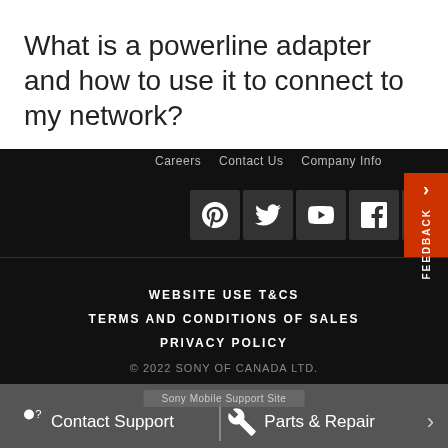What is a powerline adapter and how to use it to connect to my network?
Careers   Contact Us   Company Info
[Figure (other): Social media icons row: Pinterest, Twitter, YouTube, Facebook, Instagram on dark background with orange feedback tab on right]
WEBSITE USE T&CS
TERMS AND CONDITIONS OF SALES
PRIVACY POLICY
© 2022 SONY OF CANADA LTD.
Contact Support   Parts & Repair